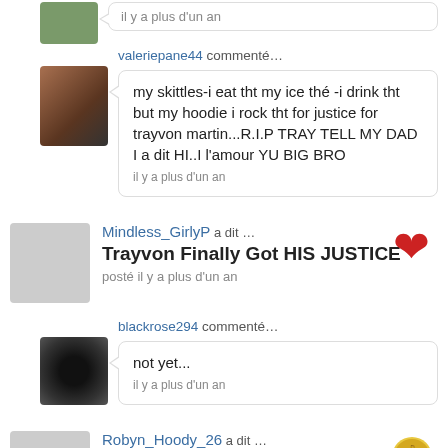[Figure (screenshot): Social media feed screenshot showing comments and posts about Trayvon Martin]
il y a plus d'un an
valeriepane44 commenté…
my skittles-i eat tht my ice thé -i drink tht but my hoodie i rock tht for justice for trayvon martin...R.I.P TRAY TELL MY DAD I a dit HI..I l'amour YU BIG BRO
il y a plus d'un an
Mindless_GirlyP a dit …
Trayvon Finally Got HIS JUSTICE
posté il y a plus d'un an
blackrose294 commenté…
not yet...
il y a plus d'un an
Robyn_Hoody_26 a dit …
114th member
Yay
but I feel srry for him to die at a young